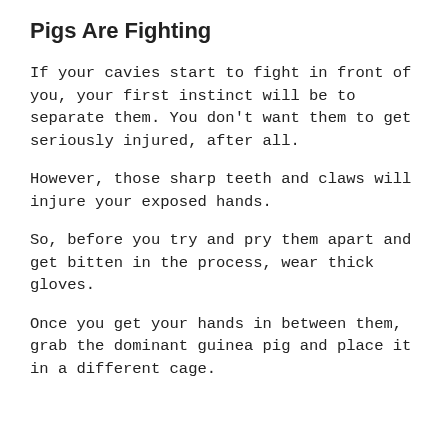Pigs Are Fighting
If your cavies start to fight in front of you, your first instinct will be to separate them. You don’t want them to get seriously injured, after all.
However, those sharp teeth and claws will injure your exposed hands.
So, before you try and pry them apart and get bitten in the process, wear thick gloves.
Once you get your hands in between them, grab the dominant guinea pig and place it in a different cage.